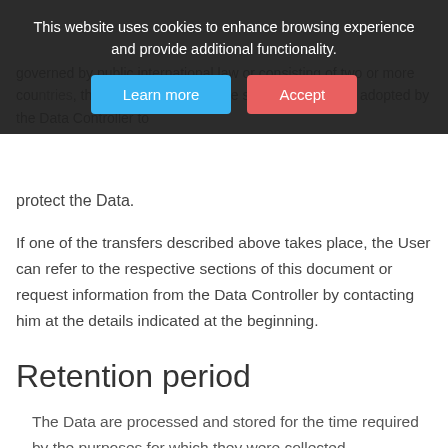[Figure (screenshot): Cookie consent banner overlay with 'Learn more' blue button and 'Accept' red button]
protect the Data.
If one of the transfers described above takes place, the User can refer to the respective sections of this document or request information from the Data Controller by contacting him at the details indicated at the beginning.
Retention period
The Data are processed and stored for the time required by the purposes for which they were collected.